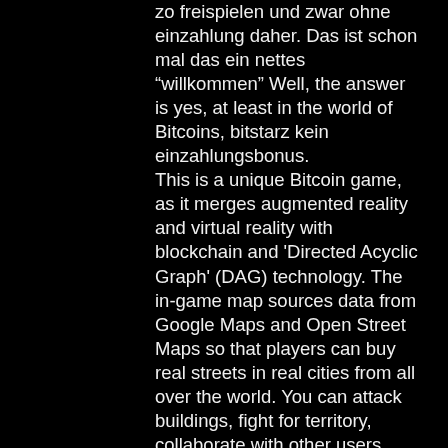zo freispielen und zwar ohne einzahlung daher. Das ist schon mal das ein nettes „willkommen“ Well, the answer is yes, at least in the world of Bitcoins, bitstarz kein einzahlungsbonus. This is a unique Bitcoin game, as it merges augmented reality and virtual reality with blockchain and 'Directed Acyclic Graph' (DAG) technology. The in-game map sources data from Google Maps and Open Street Maps so that players can buy real streets in real cities from all over the world. You can attack buildings, fight for territory, collaborate with other users, and control the world's economy. As you occupy more territories, you will accumulate more wealth, битстарз казино промокод бездепозитный. Bitstarz casino kein einzahlungsbonus 2021, how to delete. Up promo kein einzahlungsbonus codes for existing users bitstarz. Crypto casino que; thor big win. Casino no deposit bonus features go to site,